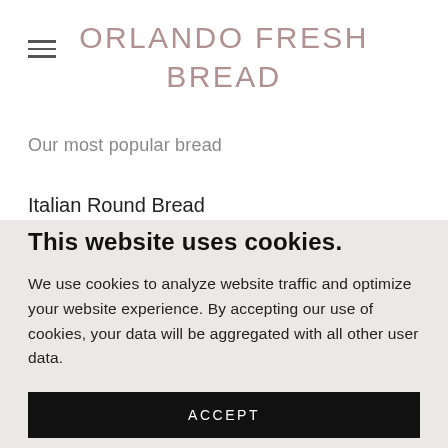ORLANDO FRESH BREAD
Our most popular bread
Italian Round Bread
This website uses cookies.
We use cookies to analyze website traffic and optimize your website experience. By accepting our use of cookies, your data will be aggregated with all other user data.
ACCEPT